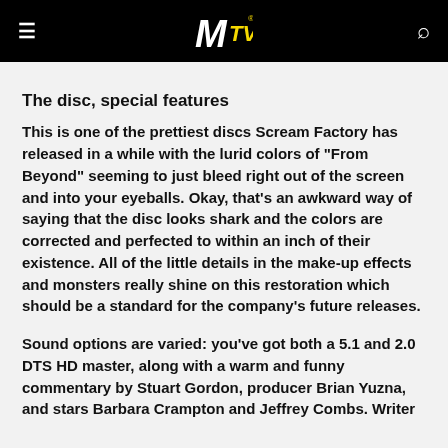MTV [logo] [menu] [search]
The disc, special features
This is one of the prettiest discs Scream Factory has released in a while with the lurid colors of "From Beyond" seeming to just bleed right out of the screen and into your eyeballs. Okay, that's an awkward way of saying that the disc looks shark and the colors are corrected and perfected to within an inch of their existence. All of the little details in the make-up effects and monsters really shine on this restoration which should be a standard for the company's future releases.
Sound options are varied: you've got both a 5.1 and 2.0 DTS HD master, along with a warm and funny commentary by Stuart Gordon, producer Brian Yuzna, and stars Barbara Crampton and Jeffrey Combs. Writer